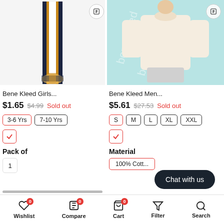[Figure (photo): Striped scarf in navy, white and mustard colors on white background]
[Figure (photo): Person wearing cream/beige sweater on light blue background with Bene Kleed watermark]
Bene Kleed Girls...
$1.65  $4.99  Sold out
3-6 Yrs  7-10 Yrs
Pack of
1
Bene Kleed Men...
$5.61  $27.53  Sold out
S  M  L  XL  XXL
Material
100% Cott...
Chat with us
Wishlist  Compare  Cart  Filter  Search